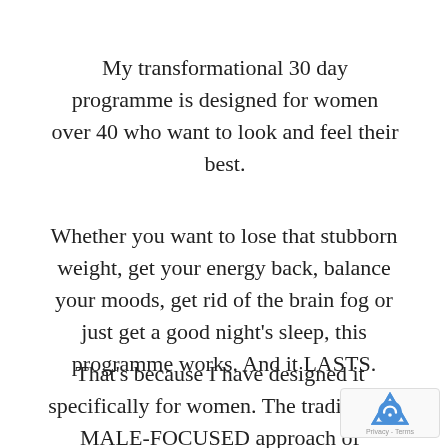My transformational 30 day programme is designed for women over 40 who want to look and feel their best.
Whether you want to lose that stubborn weight, get your energy back, balance your moods, get rid of the brain fog or just get a good night's sleep, this programme works. And it LASTS.
That's because I have designed it specifically for women. The traditional MALE-FOCUSED approach of deprivation diets and crazy fitness programmes doesn't work for